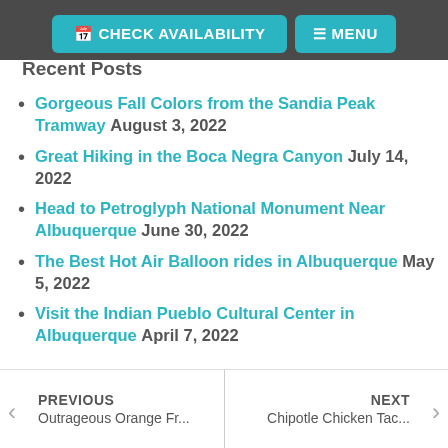CHECK AVAILABILITY   MENU
Recent Posts
Gorgeous Fall Colors from the Sandia Peak Tramway August 3, 2022
Great Hiking in the Boca Negra Canyon July 14, 2022
Head to Petroglyph National Monument Near Albuquerque June 30, 2022
The Best Hot Air Balloon rides in Albuquerque May 5, 2022
Visit the Indian Pueblo Cultural Center in Albuquerque April 7, 2022
PREVIOUS Outrageous Orange Fr...   NEXT Chipotle Chicken Tac...